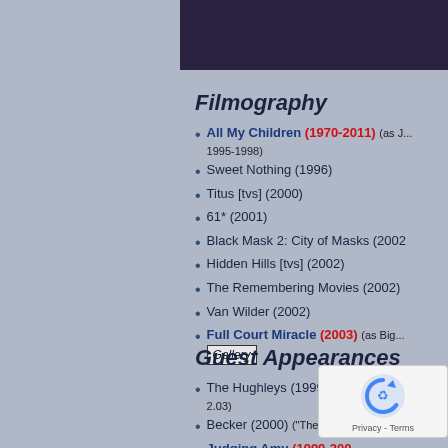[Figure (photo): Background image of children in black and white / blue tones]
Filmography
All My Children (1970-2011) (as J... 1995-1998)
Sweet Nothing (1996)
Titus [tvs] (2000)
61* (2001)
Black Mask 2: City of Masks (2002)
Hidden Hills [tvs] (2002)
The Remembering Movies (2002)
Van Wilder (2002)
Full Court Miracle (2003) (as Big... Gallery
Guest Appearances
The Hughleys (1999) ("Honey, I Bea... 2.03)
Becker (2000) ("The Hypoc...)
Judging Amy (1999-200... 2000)